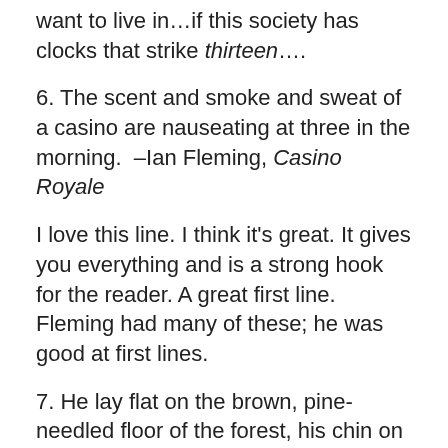want to live in…if this society has clocks that strike thirteen….
6. The scent and smoke and sweat of a casino are nauseating at three in the morning.  –Ian Fleming, Casino Royale
I love this line. I think it's great. It gives you everything and is a strong hook for the reader. A great first line. Fleming had many of these; he was good at first lines.
7. He lay flat on the brown, pine-needled floor of the forest, his chin on his folded arms, and high overhead the wind blew in the tops of the pine trees.   –Ernest Hemingway, For Whom the Bell Tolls
I really like this one. You can feel the pine needles and hear the wind blowing through the tops of the trees. You